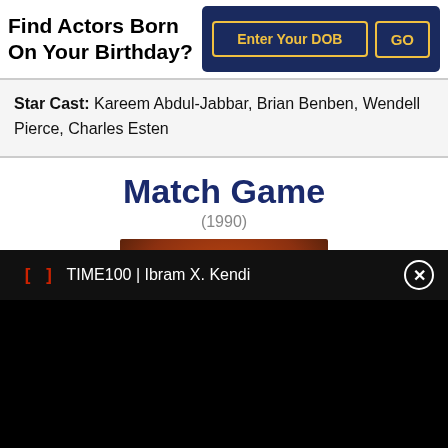Find Actors Born On Your Birthday?
Star Cast: Kareem Abdul-Jabbar, Brian Benben, Wendell Pierce, Charles Esten
Match Game
(1990)
[Figure (photo): Close-up of Match Game logo/title card with dark circular design and orange/brown background]
TIME100 | Ibram X. Kendi